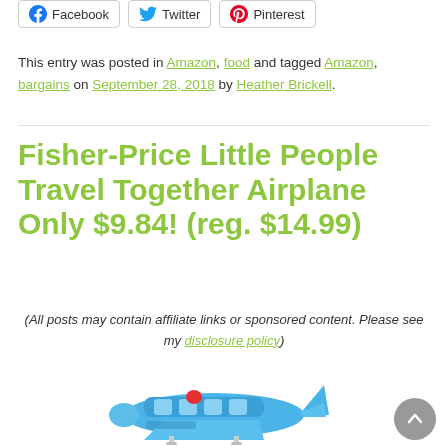[Figure (other): Social share buttons for Facebook, Twitter, and Pinterest]
This entry was posted in Amazon, food and tagged Amazon, bargains on September 28, 2018 by Heather Brickell.
Fisher-Price Little People Travel Together Airplane Only $9.84! (reg. $14.99)
(All posts may contain affiliate links or sponsored content. Please see my disclosure policy)
[Figure (photo): Fisher-Price Little People Travel Together Airplane toy - blue plastic airplane with white wings, red button, and white propeller]